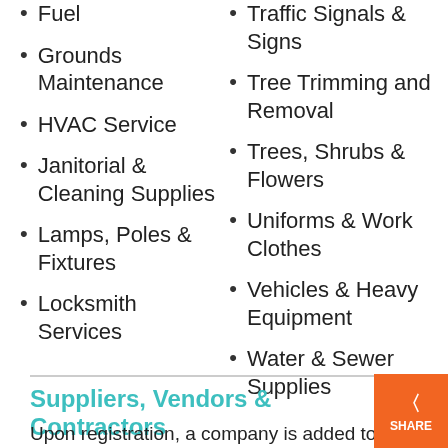Fuel
Grounds Maintenance
HVAC Service
Janitorial & Cleaning Supplies
Lamps, Poles & Fixtures
Locksmith Services
Traffic Signals & Signs
Tree Trimming and Removal
Trees, Shrubs & Flowers
Uniforms & Work Clothes
Vehicles & Heavy Equipment
Water & Sewer Supplies
Suppliers, Vendors & Contractors
Upon registration, a company is added to the iSupplier Database. The iSupplier Database is